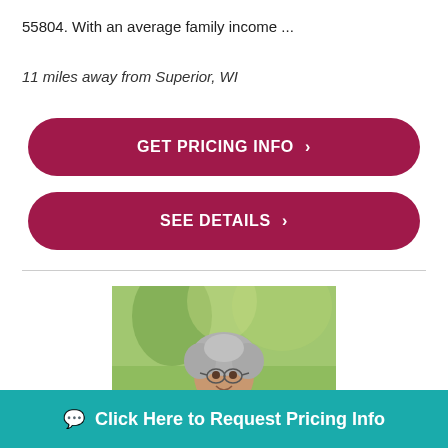55804. With an average family income ...
11 miles away from Superior, WI
[Figure (other): Button: GET PRICING INFO >]
[Figure (other): Button: SEE DETAILS >]
[Figure (photo): Photo of an older woman with curly gray hair and glasses, smiling outdoors with green trees in the background]
Click Here to Request Pricing Info